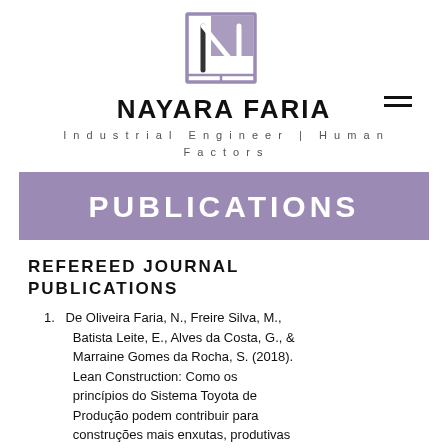[Figure (logo): Nayara Faria logo: stylized letter N with geometric lines in purple/lavender and gray tones inside a square border]
NAYARA FARIA
Industrial Engineer | Human Factors
PUBLICATIONS
REFEREED JOURNAL PUBLICATIONS
De Oliveira Faria, N., Freire Silva, M., Batista Leite, E., Alves da Costa, G., & Marraine Gomes da Rocha, S. (2018). Lean Construction: Como os princípios do Sistema Toyota de Produção podem contribuir para construções mais enxutas, produtivas e sustentáveis: Um estudo de caso na